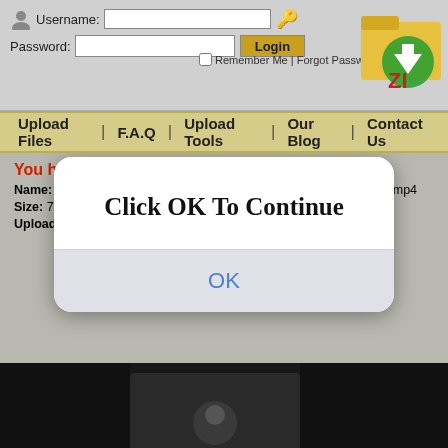[Figure (screenshot): Website login bar with username/password fields and login button, with folder/zip logo in top right]
Upload Files | F.A.Q | Upload Tools | Our Blog | Contact Us
[Figure (screenshot): Modal dialog box with text 'Click OK To Continue' and OK button]
You have requested the file:
Name: [NekoPoi]_Ikusa_Otome_Suvia_-_03_[480P]_[nekopoi.host].mp4
Size: 78.87 MB
Uploaded: 18-10-2017 02:02
[Figure (screenshot): Dark video player thumbnail at bottom of page]